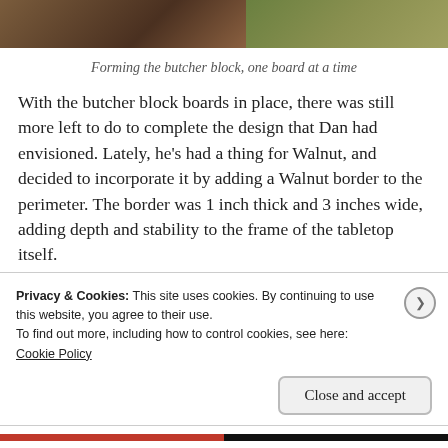[Figure (photo): Two side-by-side photos: left shows wooden boards/butcher block in progress, right shows a greenish/yellow background with wooden elements]
Forming the butcher block, one board at a time
With the butcher block boards in place, there was still more left to do to complete the design that Dan had envisioned. Lately, he’s had a thing for Walnut, and decided to incorporate it by adding a Walnut border to the perimeter. The border was 1 inch thick and 3 inches wide, adding depth and stability to the frame of the tabletop itself.
Privacy & Cookies: This site uses cookies. By continuing to use this website, you agree to their use.
To find out more, including how to control cookies, see here: Cookie Policy
Close and accept